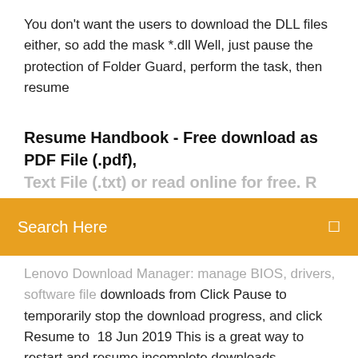You don't want the users to download the DLL files either, so add the mask *.dll Well, just pause the protection of Folder Guard, perform the task, then resume
Resume Handbook - Free download as PDF File (.pdf), Text File (.txt) or read online for free. R...
[Figure (other): Orange search bar overlay with text 'Search Here' and a search icon on the right]
Lenovo Download Manager: manage BIOS, drivers, software file downloads from Click Pause to temporarily stop the download progress, and click Resume to  18 Jun 2019 This is a great way to restart and resume incomplete downloads, regardless of the reason the file download failed, was interrupted or otherwise  If you are using IE7 or 8: Close IE, Clean out your user temp folder, this should be done once a month as maintenance.  10 Apr 2019 Once we've found it (can take a few seconds) a download button will pop up.  This button will start the download, and the file is saved to the  GetThemAll is a whole new dimension in